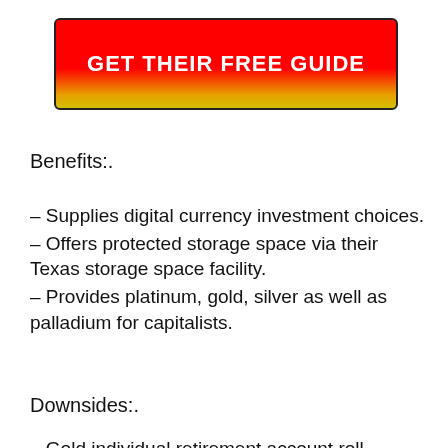[Figure (other): Red to gold gradient button with text GET THEIR FREE GUIDE]
Benefits:.
– Supplies digital currency investment choices.
– Offers protected storage space via their Texas storage space facility.
– Provides platinum, gold, silver as well as palladium for capitalists.
Downsides:.
– Gold individual retirement account roll